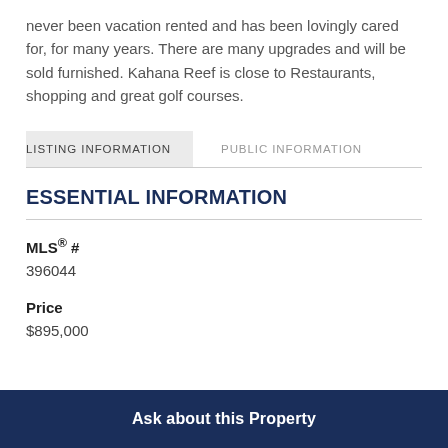never been vacation rented and has been lovingly cared for, for many years. There are many upgrades and will be sold furnished. Kahana Reef is close to Restaurants, shopping and great golf courses.
LISTING INFORMATION
ESSENTIAL INFORMATION
MLS® #
396044
Price
$895,000
Ask about this Property